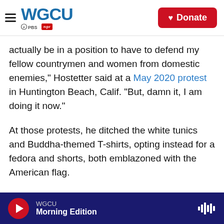WGCU PBS NPR — Donate
actually be in a position to have to defend my fellow countrymen and women from domestic enemies," Hostetter said at a May 2020 protest in Huntington Beach, Calif. "But, damn it, I am doing it now."
At those protests, he ditched the white tunics and Buddha-themed T-shirts, opting instead for a fedora and shorts, both emblazoned with the American flag.
Residents on both the left and right of the political spectrum agree that the moment in which
WGCU Morning Edition